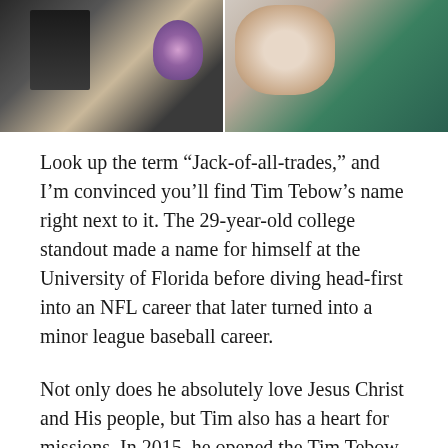[Figure (photo): Two side-by-side photos: left shows a person in dark jacket holding a purple bouquet with a key necklace; right shows a close-up of a person's face/neck.]
Look up the term “Jack-of-all-trades,” and I’m convinced you’ll find Tim Tebow’s name right next to it. The 29-year-old college standout made a name for himself at the University of Florida before diving head-first into an NFL career that later turned into a minor league baseball career.
Not only does he absolutely love Jesus Christ and His people, but Tim also has a heart for missions. In 2015, he opened the Tim Tebow CURE Hospital in Davao City, Philippines—a country his family holds near and dear to their hearts—and he hopes to one day get married to a God-fearing woman who wants to raise a small village with him. (How’s that for a dating profile?)